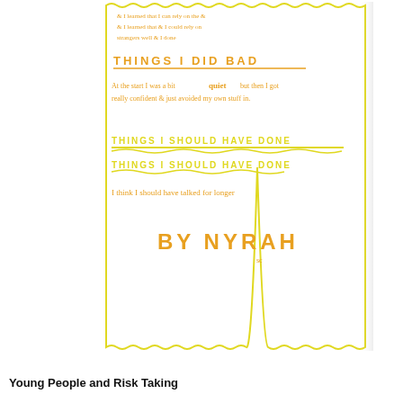[Figure (illustration): Handwritten child's reflection sheet on white paper with yellow wavy border. Contains sections: 'THINGS I DID BAD' and 'THINGS I SHOULD HAVE DONE', with handwritten notes and 'BY NYRAH' signature.]
& I learned that I can rely on the 2 & I learned that & I could rely strangers well & I done really well sometimes
THINGS I DID BAD
At the start I was a bit quiet but then I got really confident & just avoided my own stuff in.
THINGS I SHOULD HAVE DONE
I think I should have talked for longer
BY NYRAH
Young People and Risk Taking